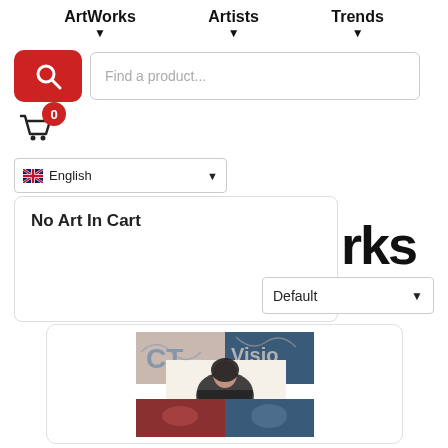ArtWorks   Artists   Trends
[Figure (screenshot): Search bar with red search button and text input placeholder 'Find a product...']
[Figure (screenshot): Shopping cart icon with red badge showing count 0]
[Figure (screenshot): Language selector dropdown showing English with UK flag]
No Art In Cart
rks
[Figure (screenshot): Sort dropdown showing 'Default']
[Figure (photo): Art product thumbnail showing collage style artwork with woman figure and decorative elements in blue, red, and cream tones]